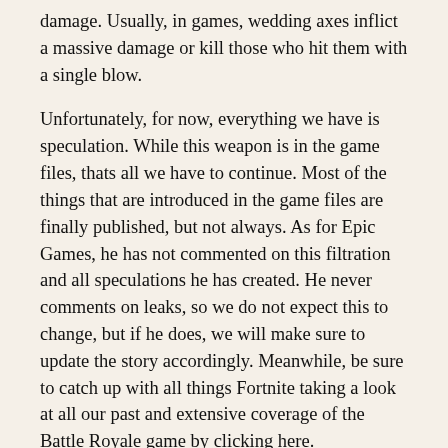damage. Usually, in games, wedding axes inflict a massive damage or kill those who hit them with a single blow.
Unfortunately, for now, everything we have is speculation. While this weapon is in the game files, thats all we have to continue. Most of the things that are introduced in the game files are finally published, but not always. As for Epic Games, he has not commented on this filtration and all speculations he has created. He never comments on leaks, so we do not expect this to change, but if he does, we will make sure to update the story accordingly. Meanwhile, be sure to catch up with all things Fortnite taking a look at all our past and extensive coverage of the Battle Royale game by clicking here.
[Figure (photo): Colorful Fortnite game scene with purple and blue lighting effects, showing game characters with glowing energy effects against a dark background.]